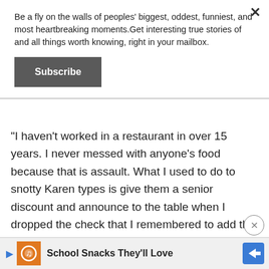Be a fly on the walls of peoples' biggest, oddest, funniest, and most heartbreaking moments.Get interesting true stories of and all things worth knowing, right in your mailbox.
Subscribe
"I haven't worked in a restaurant in over 15 years. I never messed with anyone's food because that is assault. What I used to do to snotty Karen types is give them a senior discount and announce to the table when I dropped the check that I remembered to add the senior discount."
-- Equal_Independence_1
School Snacks They'll Love